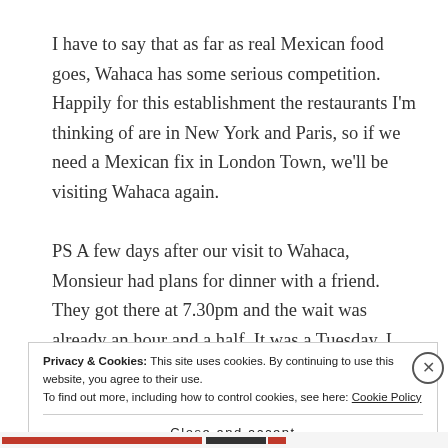I have to say that as far as real Mexican food goes, Wahaca has some serious competition. Happily for this establishment the restaurants I'm thinking of are in New York and Paris, so if we need a Mexican fix in London Town, we'll be visiting Wahaca again.

PS A few days after our visit to Wahaca, Monsieur had plans for dinner with a friend. They got there at 7.30pm and the wait was already an hour and a half. It was a Tuesday. I guess that tells you everything.
Privacy & Cookies: This site uses cookies. By continuing to use this website, you agree to their use.
To find out more, including how to control cookies, see here: Cookie Policy
Close and accept